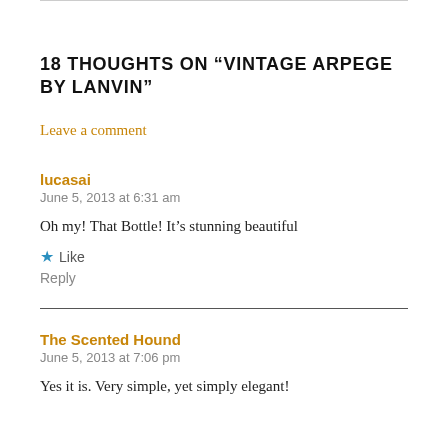18 THOUGHTS ON “VINTAGE ARPEGE BY LANVIN”
Leave a comment
lucasai
June 5, 2013 at 6:31 am
Oh my! That Bottle! It’s stunning beautiful
★ Like
Reply
The Scented Hound
June 5, 2013 at 7:06 pm
Yes it is. Very simple, yet simply elegant!